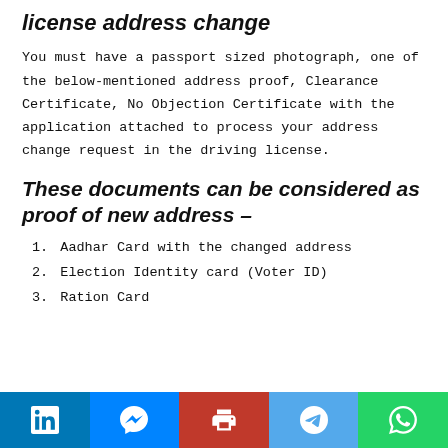license address change
You must have a passport sized photograph, one of the below-mentioned address proof, Clearance Certificate, No Objection Certificate with the application attached to process your address change request in the driving license.
These documents can be considered as proof of new address –
1. Aadhar Card with the changed address
2. Election Identity card (Voter ID)
3. Ration Card